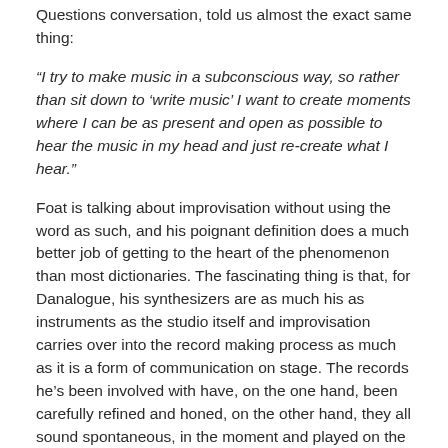Questions conversation, told us almost the exact same thing:
“I try to make music in a subconscious way, so rather than sit down to ‘write music’ I want to create moments where I can be as present and open as possible to hear the music in my head and just re-create what I hear.”
Foat is talking about improvisation without using the word as such, and his poignant definition does a much better job of getting to the heart of the phenomenon than most dictionaries. The fascinating thing is that, for Danalogue, his synthesizers are as much his as instruments as the studio itself and improvisation carries over into the record making process as much as it is a form of communication on stage. The records he’s been involved with have, on the one hand, been carefully refined and honed, on the other hand, they all sound spontaneous, in the moment and played on the spot, as though the songs could go any direction at